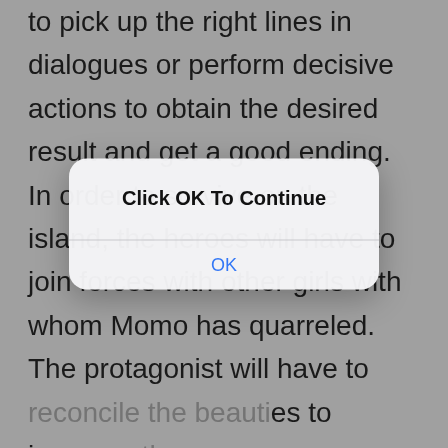to pick up the right lines in dialogues or perform decisive actions to obtain the desired result and get a good ending. In order to survive on the island, the heroes will have to join forces with other girls with whom Momo has quarreled. The protagonist will have to reconcile the beauties to increase the... The main task becomes the resolution of the conflict, learning the personal stories of each lady. After analyzing the situation, it will be possible to find an approach to the girls and bring them together, raising morale and building relationships between characters. The hero will get the
[Figure (screenshot): A modal dialog overlay with rounded white/light background. Title reads 'Click OK To Continue' in bold black. Below a horizontal divider is a blue 'OK' button text.]